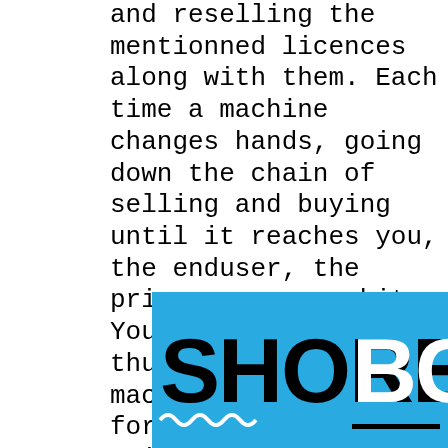and reselling the mentionned licences along with them. Each time a machine changes hands, going down the chain of selling and buying until it reaches you, the enduser, the price goes up a bit. Your local retailer thus ends up with a machine and a licence for, say, 10 reinstallments (or one installment for a network of ten stations or anything in between).
[Figure (logo): SHORE BCN logo — 'SHORE' in black bold text and 'BCN' in white bold text on a cyan/blue background, with white wave underlines and a black horizontal bar.]